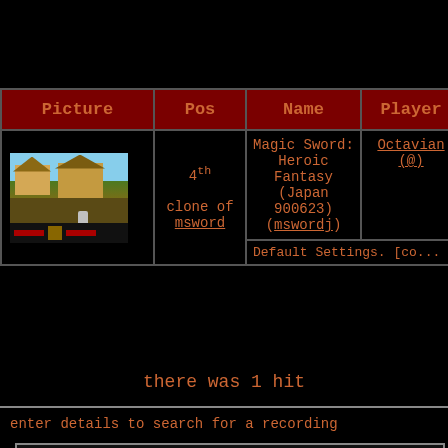| Picture | Pos | Name | Player | Date |
| --- | --- | --- | --- | --- |
| [game screenshot] | 4th

clone of msword | Magic Sword: Heroic Fantasy (Japan 900623) (mswordj) | Octavian (@) | 17 Feb 99 12:13:4 |
|  |  | Default Settings. [co... starts] ... |  |  |
there was 1 hit
enter details to search for a recording
short name (leave empty to match all games)